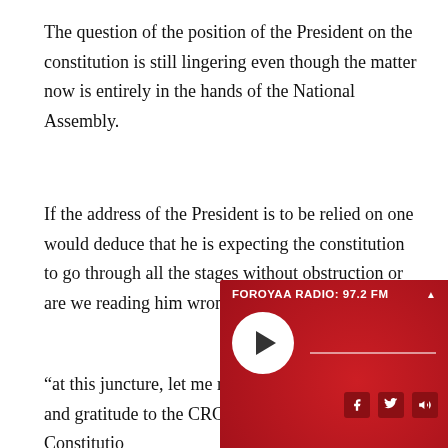The question of the position of the President on the constitution is still lingering even though the matter now is entirely in the hands of the National Assembly.
If the address of the President is to be relied on one would deduce that he is expecting the constitution to go through all the stages without obstruction or are we reading him wrongly? This is what he said:
“at this juncture, let me reiterate my appreciation and gratitude to the CRC for submitting the draft Constitution… copy has d… was tabled… for the re…
[Figure (other): Foroyaa Radio 97.2 FM audio player widget overlay. Red background with play button, progress bar, and social media icons (Facebook, Twitter, speaker).]